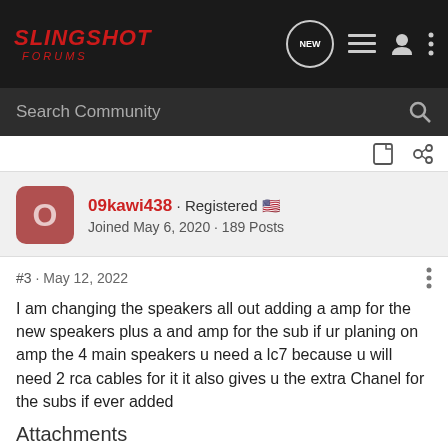SLINGSHOT FORUMS
Search Community
09kawi438 · Registered
Joined May 6, 2020 · 189 Posts
#3 · May 12, 2022
I am changing the speakers all out adding a amp for the new speakers plus a and amp for the sub if ur planing on amp the 4 main speakers u need a lc7 because u will need 2 rca cables for it it also gives u the extra Chanel for the subs if ever added
Attachments
[Figure (photo): Attachment thumbnail showing a dark blue box/product (AudioControl or similar) on a light background]
[Figure (photo): Attachment thumbnail showing an orange circular disc/speaker component]